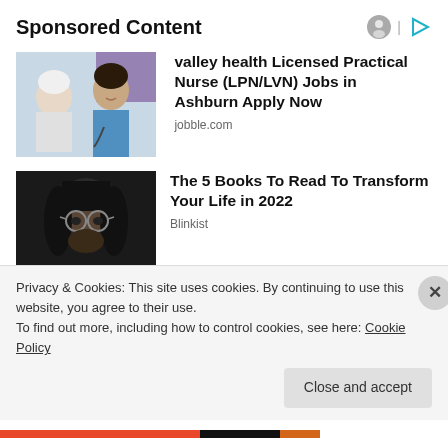Sponsored Content
[Figure (photo): A nurse in blue scrubs smiling at an elderly patient]
valley health Licensed Practical Nurse (LPN/LVN) Jobs in Ashburn Apply Now
jobble.com
[Figure (photo): Black and white portrait of a young man with long hair and round glasses]
The 5 Books To Read To Transform Your Life in 2022
Blinkist
Privacy & Cookies: This site uses cookies. By continuing to use this website, you agree to their use.
To find out more, including how to control cookies, see here: Cookie Policy
Close and accept